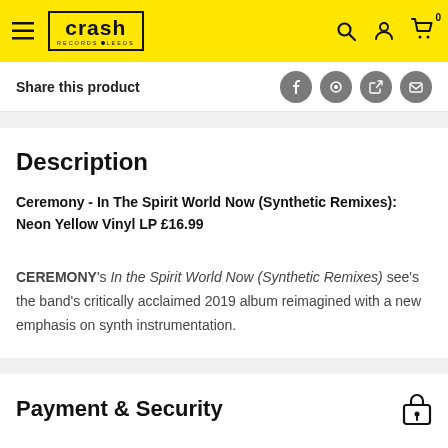Crash Records Leeds — navigation header
Share this product
Description
Ceremony - In The Spirit World Now (Synthetic Remixes): Neon Yellow Vinyl LP £16.99
CEREMONY's In the Spirit World Now (Synthetic Remixes) see's the band's critically acclaimed 2019 album reimagined with a new emphasis on synth instrumentation.
Payment & Security